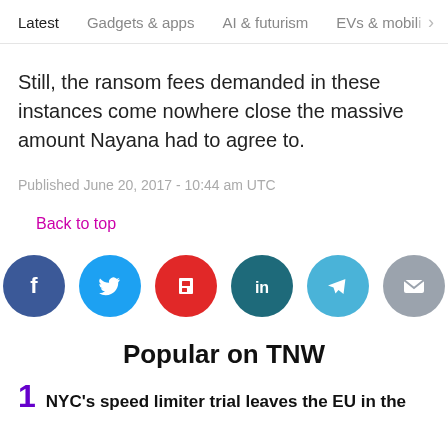Latest   Gadgets & apps   AI & futurism   EVs & mobil  >
Still, the ransom fees demanded in these instances come nowhere close the massive amount Nayana had to agree to.
Published June 20, 2017 - 10:44 am UTC
Back to top
[Figure (infographic): Social share icons: Facebook (blue circle), Twitter (blue circle), Flipboard (red circle), LinkedIn (dark teal circle), Telegram (light blue circle), Email (gray circle)]
Popular on TNW
NYC's speed limiter trial leaves the EU in the